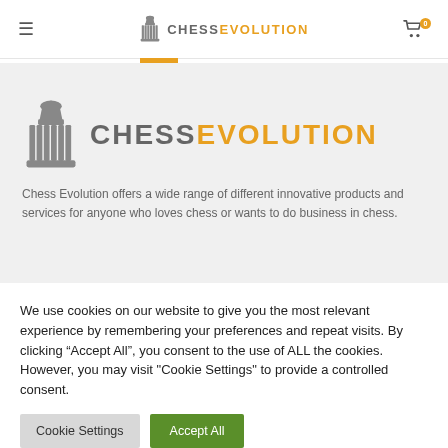CHESS EVOLUTION
[Figure (logo): Chess Evolution large logo with chess piece icon and text CHESSEVOLUTION in orange and gray]
Chess Evolution offers a wide range of different innovative products and services for anyone who loves chess or wants to do business in chess.
We use cookies on our website to give you the most relevant experience by remembering your preferences and repeat visits. By clicking “Accept All”, you consent to the use of ALL the cookies. However, you may visit "Cookie Settings" to provide a controlled consent.